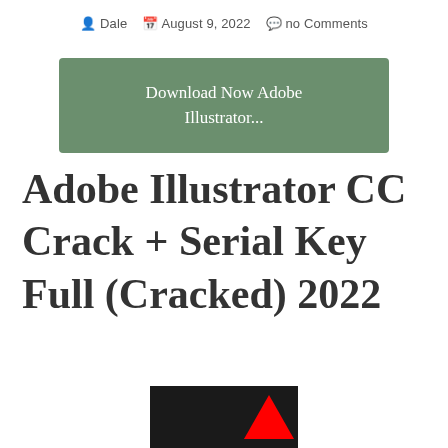Dale  August 9, 2022  no Comments
[Figure (other): Green download button with text 'Download Now Adobe Illustrator...']
Adobe Illustrator CC Crack + Serial Key Full (Cracked) 2022
[Figure (photo): Bottom portion of Adobe Illustrator product box (black box with Adobe logo) partially visible at bottom of page]